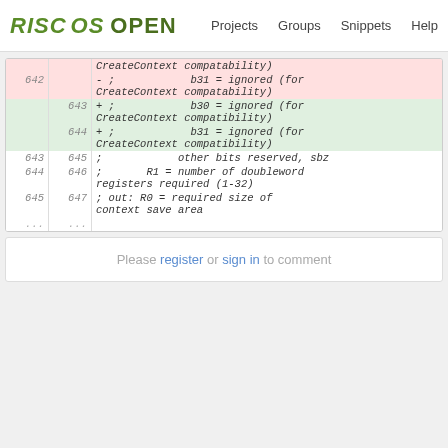RISC OS OPEN | Projects | Groups | Snippets | Help
| old_ln | new_ln | code |
| --- | --- | --- |
|  |  | CreateContext compatability) |
| 642 |  | - ;            b31 = ignored (for CreateContext compatability) |
|  | 643 | + ;            b30 = ignored (for CreateContext compatibility) |
|  | 644 | + ;            b31 = ignored (for CreateContext compatibility) |
| 643 | 645 | ;            other bits reserved, sbz |
| 644 | 646 | ;       R1 = number of doubleword registers required (1-32) |
| 645 | 647 | ; out: R0 = required size of context save area |
| ... | ... |  |
Please register or sign in to comment